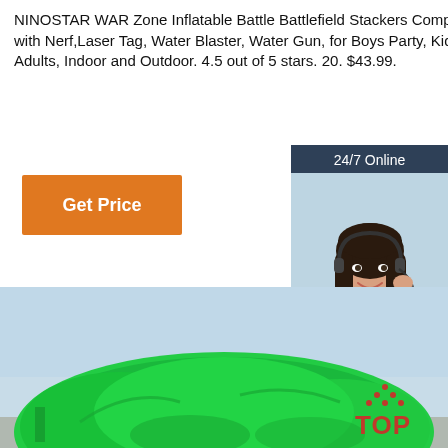NINOSTAR WAR Zone Inflatable Battle Battlefield Stackers Compatible with Nerf,Laser Tag, Water Blaster, Water Gun, for Boys Party, Kids and Adults, Indoor and Outdoor. 4.5 out of 5 stars. 20. $43.99.
[Figure (other): Orange 'Get Price' button]
[Figure (illustration): Customer service chat widget with 24/7 Online header, photo of woman with headset, 'Click here for free chat!' text, and orange QUOTATION button]
[Figure (photo): Inflatable green battlefield structure outdoors with light blue sky background. TOP watermark logo at bottom right.]